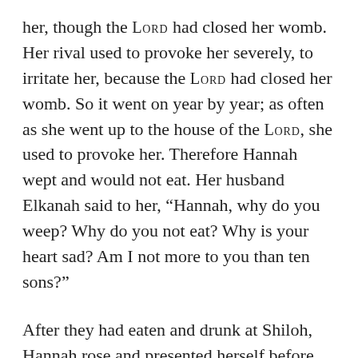her, though the LORD had closed her womb. Her rival used to provoke her severely, to irritate her, because the LORD had closed her womb. So it went on year by year; as often as she went up to the house of the LORD, she used to provoke her. Therefore Hannah wept and would not eat. Her husband Elkanah said to her, “Hannah, why do you weep? Why do you not eat? Why is your heart sad? Am I not more to you than ten sons?”
After they had eaten and drunk at Shiloh, Hannah rose and presented herself before the LORD. Now Eli the priest was sitting on the seat beside the doorpost of the temple of the LORD. She was deeply distressed and prayed to the LORD, and wept bitterly. She made this vow: “O LORD of hosts, if only you will look on the misery of your servant, and remember me, and not forget your servant, but will give to your servant a